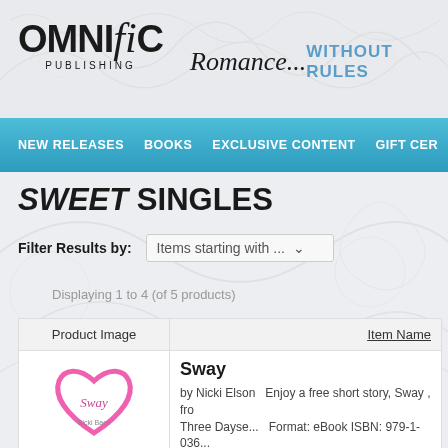[Figure (logo): Omnific Publishing logo with script flourish and Romance...Without Rules tagline]
NEW RELEASES   BOOKS   EXCLUSIVE CONTENT   GIFT CER...
SWEET SINGLES
Filter Results by: Items starting with ...
Displaying 1 to 4 (of 5 products)
| Product Image | Item Name |
| --- | --- |
| [heart/Sway book cover image] | Sway
by Nicki Elson   Enjoy a free short story, Sway , fr...
Three Dayse...   Format: eBook ISBN: 979-1-036... |
Sway